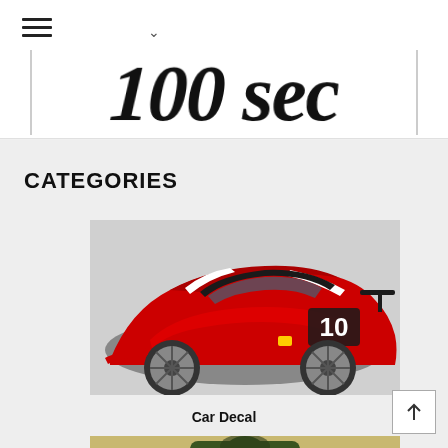Navigation header with hamburger menu, chevron, and logo/brand text
CATEGORIES
[Figure (photo): Red Ferrari FXX K race car with number 10, white racing stripes, and black carbon fiber accents]
Car Decal
[Figure (photo): Person wearing a green leather jacket with motorcycle equipment visible at the bottom]